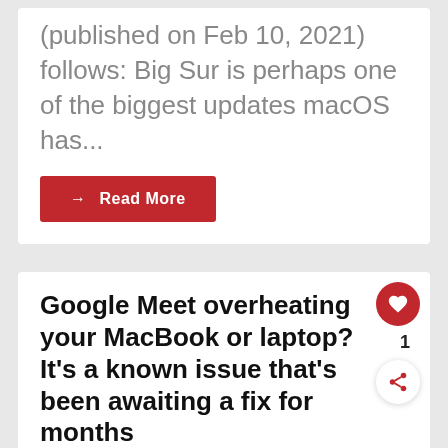(published on Feb 10, 2021) follows: Big Sur is perhaps one of the biggest updates macOS has...
→ Read More
Google Meet overheating your MacBook or laptop? It's a known issue that's been awaiting a fix for months
hillary_keverenge  Mar 01, 2021  Apple